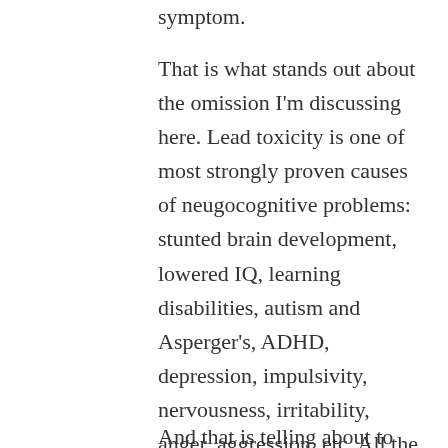symptom.
That is what stands out about the omission I'm discussing here. Lead toxicity is one of most strongly proven causes of neugocognitive problems: stunted brain development, lowered IQ, learning disabilities, autism and Asperger's, ADHD, depression, impulsivity, nervousness, irritability, anger, aggression, etc. All the heavy metals mess people up in the head, along with causing physical ailments such as hearing impairment, asthma, obesity, kidney failure, and much else.
And that is telling about to some extent in